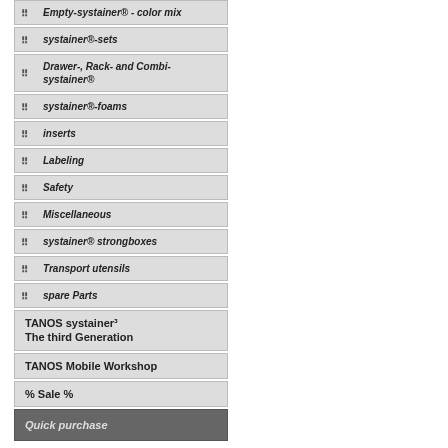Empty-systainer® - color mix
systainer®-sets
Drawer-, Rack- and Combi-systainer®
systainer®-foams
inserts
Labeling
Safety
Miscellaneous
systainer® strongboxes
Transport utensils
spare Parts
TANOS systainer³ The third Generation
TANOS Mobile Workshop
% Sale %
Quick purchase